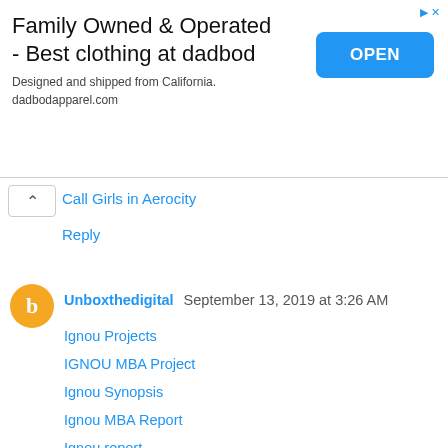[Figure (screenshot): Advertisement banner for dadbod apparel. Title: 'Family Owned & Operated - Best clothing at dadbod'. Subtitle: 'Designed and shipped from California. dadbodapparel.com'. Blue OPEN button on right.]
Call Girls in Aerocity
Reply
Unboxthedigital  September 13, 2019 at 3:26 AM
Ignou Projects
IGNOU MBA Project
Ignou Synopsis
Ignou MBA Report
Ignou report
Ignou MBA synopsis
Ignou MAPC Project Report
IGNOU MAEDU Project
Ignou MA Psychology Project
Ignou MESP 1 Project
Ignou MAPC synopsis
finance project for mba